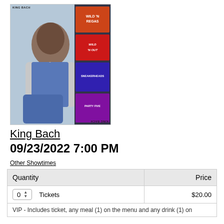[Figure (photo): King Bach promotional photo collage showing performer and movie/show thumbnails including 'Wild 'n Out', 'Sneakerheads', and other titles]
King Bach
09/23/2022 7:00 PM
Other Showtimes
| Quantity | Price |
| --- | --- |
| 0  Tickets | $20.00 |
| VIP - Includes ticket, any meal (1) on the menu and any drink (1) on the menu including alcoholic beve... |  |